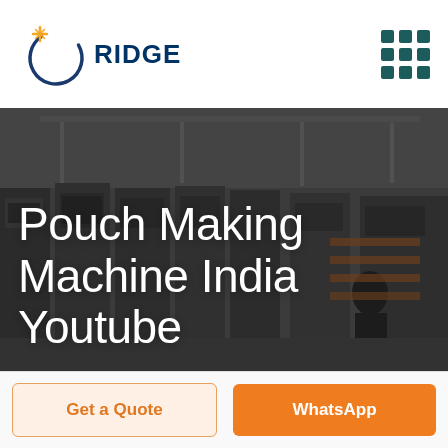[Figure (logo): RIDGE company logo with circular arc and star/plus icon in orange, dark blue text]
[Figure (photo): Industrial factory floor with pouch making machines, dark overlay, worker visible in background]
Pouch Making Machine India Youtube
Get a Quote
WhatsApp